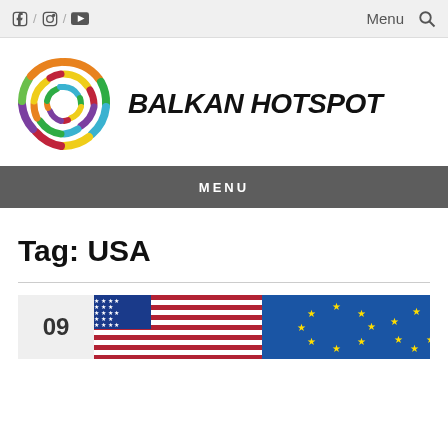f / Instagram / YouTube    Menu 🔍
[Figure (logo): Balkan Hotspot logo — colorful circular arc logo with text BALKAN HOTSPOT in bold handwritten font]
MENU
Tag: USA
[Figure (photo): American flag and EU flag side by side; date box showing '09']